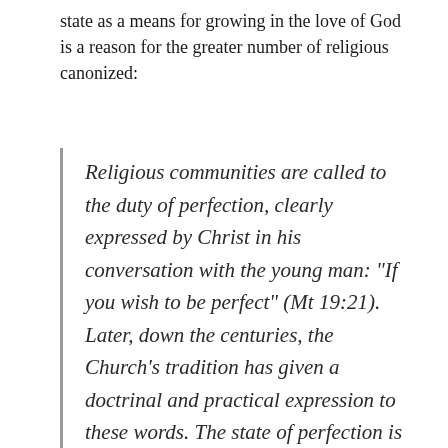state as a means for growing in the love of God is a reason for the greater number of religious canonized:
Religious communities are called to the duty of perfection, clearly expressed by Christ in his conversation with the young man: "If you wish to be perfect" (Mt 19:21). Later, down the centuries, the Church's tradition has given a doctrinal and practical expression to these words. The state of perfection is not only theory. It is life. And it is precisely life that confirms the truth of Christ's words: do not the majority of canonized saints come from religious Orders or Congregations?